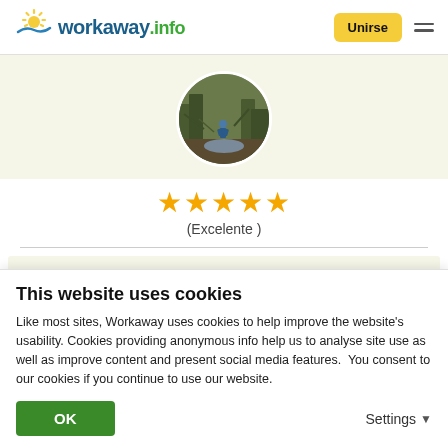[Figure (logo): Workaway.info logo with sun icon]
Unirse
[Figure (photo): Circular profile photo of a person in nature/forest setting]
★★★★★ (Excelente )
04/08/2022
Dejado por el workawayer (Slavo) para el anfitrión
This website uses cookies
Like most sites, Workaway uses cookies to help improve the website's usability. Cookies providing anonymous info help us to analyse site use as well as improve content and present social media features.  You consent to our cookies if you continue to use our website.
OK
Settings